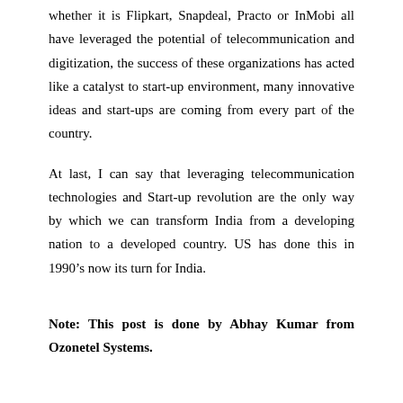whether it is Flipkart, Snapdeal, Practo or InMobi all have leveraged the potential of telecommunication and digitization, the success of these organizations has acted like a catalyst to start-up environment, many innovative ideas and start-ups are coming from every part of the country.
At last, I can say that leveraging telecommunication technologies and Start-up revolution are the only way by which we can transform India from a developing nation to a developed country. US has done this in 1990’s now its turn for India.
Note: This post is done by Abhay Kumar from Ozonetel Systems.